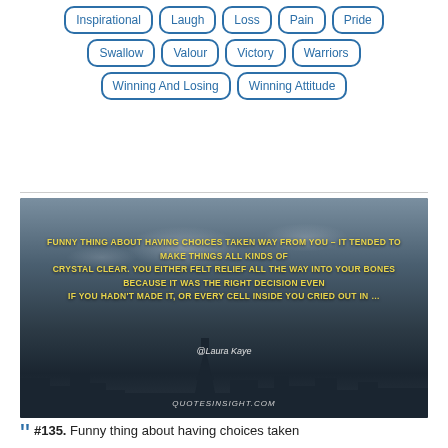Inspirational, Laugh, Loss, Pain, Pride, Swallow, Valour, Victory, Warriors, Winning And Losing, Winning Attitude
[Figure (photo): Dark moody cityscape with Paris skyline including Eiffel Tower silhouette against cloudy sky. Overlaid with yellow/gold quote text and attribution '@Laura Kaye'. Site watermark 'QUOTESINSIGHT.COM' at bottom.]
“ #135. Funny thing about having choices taken